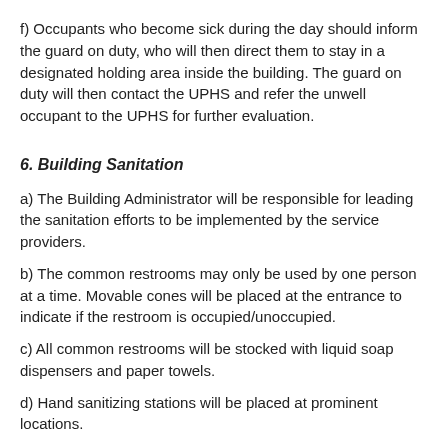f) Occupants who become sick during the day should inform the guard on duty, who will then direct them to stay in a designated holding area inside the building. The guard on duty will then contact the UPHS and refer the unwell occupant to the UPHS for further evaluation.
6. Building Sanitation
a) The Building Administrator will be responsible for leading the sanitation efforts to be implemented by the service providers.
b) The common restrooms may only be used by one person at a time. Movable cones will be placed at the entrance to indicate if the restroom is occupied/unoccupied.
c) All common restrooms will be stocked with liquid soap dispensers and paper towels.
d) Hand sanitizing stations will be placed at prominent locations.